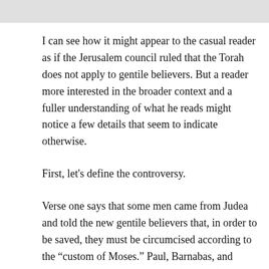I can see how it might appear to the casual reader as if the Jerusalem council ruled that the Torah does not apply to gentile believers. But a reader more interested in the broader context and a fuller understanding of what he reads might notice a few details that seem to indicate otherwise.
First, let's define the controversy.
Verse one says that some men came from Judea and told the new gentile believers that, in order to be saved, they must be circumcised according to the “custom of Moses.” Paul, Barnabas, and some others went to Jerusalem (in Judea) to discuss this issue with the apostles and elders (v2). When they had brought the Jerusalem council up to date on their mission to the